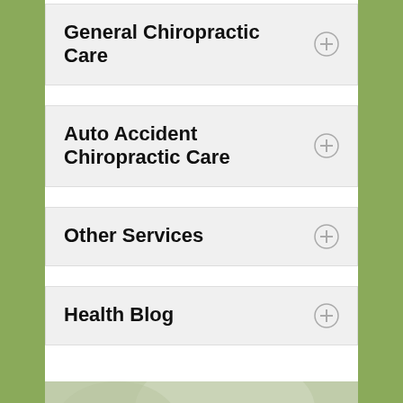General Chiropractic Care
Auto Accident Chiropractic Care
Other Services
Health Blog
[Figure (illustration): Featured Products promotional banner with background image of healthcare-related items, italic serif text reading 'Featured Products', underline, and '10% OFF' text below]